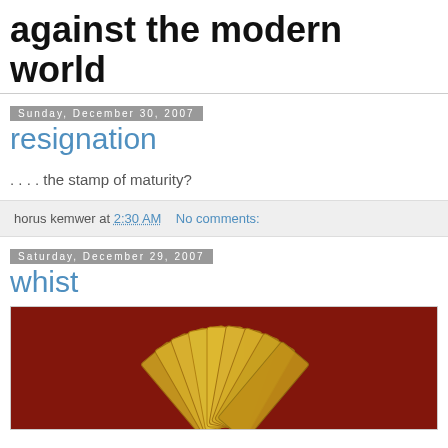against the modern world
Sunday, December 30, 2007
resignation
. . . . the stamp of maturity?
horus kemwer at 2:30 AM   No comments:
Saturday, December 29, 2007
whist
[Figure (photo): A fan of golden playing cards spread out on a red leather background]